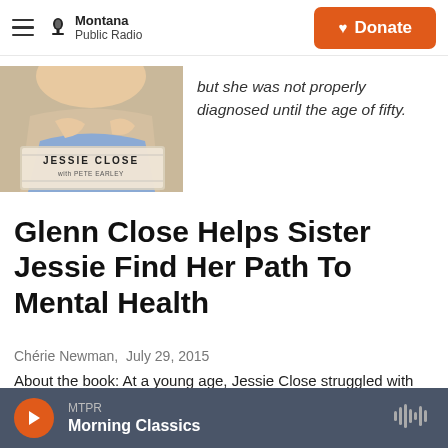Montana Public Radio | Donate
[Figure (photo): Book cover: Jessie Close with Pete Earley, showing a woman hugging her knees, partially cropped at top of page]
but she was not properly diagnosed until the age of fifty.
Glenn Close Helps Sister Jessie Find Her Path To Mental Health
Chérie Newman,  July 29, 2015
About the book: At a young age, Jessie Close struggled with symptoms that would transform into severe bipolar disorder in her early twenties, but she was...
MTPR  Morning Classics